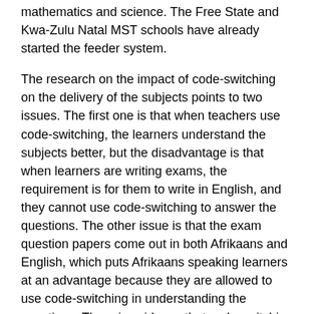mathematics and science. The Free State and Kwa-Zulu Natal MST schools have already started the feeder system.
The research on the impact of code-switching on the delivery of the subjects points to two issues. The first one is that when teachers use code-switching, the learners understand the subjects better, but the disadvantage is that when learners are writing exams, the requirement is for them to write in English, and they cannot use code-switching to answer the questions. The other issue is that the exam question papers come out in both Afrikaans and English, which puts Afrikaans speaking learners at an advantage because they are allowed to use code-switching in understanding the questions. There is evidence that code-switching can contribute positively to increasing the understanding of the content among the learners, but it does not benefit every South African learner.
The Department also uses high-end technology that requires the internet for those learners who have access to it and deploys digital content offline so that the learners do not have to access digital content using the internet. The learners can access this through the local content servers, where they can